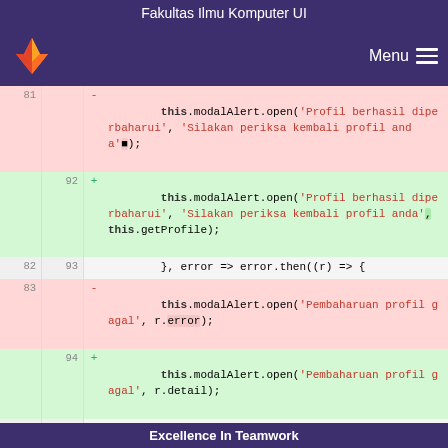Fakultas Ilmu Komputer UI
[Figure (screenshot): GitLab navigation bar with fox logo and Menu button on dark purple background]
| old_ln | new_ln | sign | code |
| --- | --- | --- | --- |
| 81 |  | - |         this.modalAlert.open('Profil berhasil diperbaharui', 'Silakan periksa kembali profil anda'); |
|  | 92 | + |         this.modalAlert.open('Profil berhasil diperbaharui', 'Silakan periksa kembali profil anda', this.getProfile); |
| 82 | 93 |  |         }, error => error.then((r) => { |
| 83 |  | - |         this.modalAlert.open('Pembaharuan profil gagal', r.error); |
|  | 94 | + |         this.modalAlert.open('Pembaharuan profil gagal', r.detail); |
| 84 | 95 |  |         })); |
| 85 | 96 |  |     }; |
| 86 | 97 |  |  |
| ... | ... |  | @@ -103,6 +114,11 @@ export default |
Excellence In Teamwork